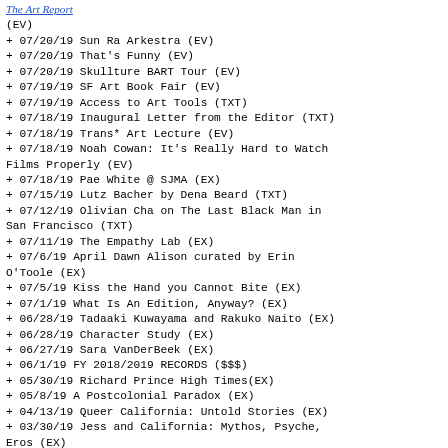The Art Report
(EV)
+ 07/20/19 Sun Ra Arkestra (EV)
+ 07/20/19 That's Funny (EV)
+ 07/20/19 Skullture BART Tour (EV)
+ 07/19/19 SF Art Book Fair (EV)
+ 07/19/19 Access to Art Tools (TXT)
+ 07/18/19 Inaugural Letter from the Editor (TXT)
+ 07/18/19 Trans* Art Lecture (EV)
+ 07/18/19 Noah Cowan: It's Really Hard to Watch Films Properly (EV)
+ 07/18/19 Pae White @ SJMA (EX)
+ 07/15/19 Lutz Bacher by Dena Beard (TXT)
+ 07/12/19 Olivian Cha on The Last Black Man in San Francisco (TXT)
+ 07/11/19 The Empathy Lab (EX)
+ 07/6/19 April Dawn Alison curated by Erin O'Toole (EX)
+ 07/5/19 Kiss the Hand you Cannot Bite (EX)
+ 07/1/19 What Is An Edition, Anyway? (EX)
+ 06/28/19 Tadaaki Kuwayama and Rakuko Naito (EX)
+ 06/28/19 Character Study (EX)
+ 06/27/19 Sara VanDerBeek (EX)
+ 06/1/19 FY 2018/2019 RECORDS ($$$)
+ 05/30/19 Richard Prince High Times(EX)
+ 05/8/19 A Postcolonial Paradox (EX)
+ 04/13/19 Queer California: Untold Stories (EX)
+ 03/30/19 Jess and California: Mythos, Psyche, Eros (EX)